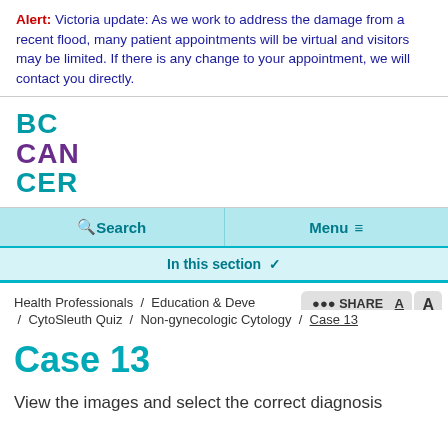Alert: Victoria update: As we work to address the damage from a recent flood, many patient appointments will be virtual and visitors may be limited. If there is any change to your appointment, we will contact you directly.
[Figure (logo): BC Cancer logo in teal and purple text reading BC CAN CER]
Search   Menu
In this section
Health Professionals / Education & Deve... / CytoSleuth Quiz / Non-gynecologic Cytology / Case 13
Case 13
View the images and select the correct diagnosis